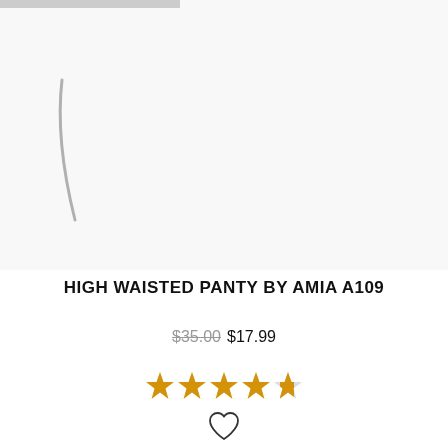[Figure (photo): Product image area showing a partial outline/silhouette of a high waisted panty on white background]
HIGH WAISTED PANTY BY AMIA A109
$35.00 $17.99
[Figure (other): 4.5 star rating with 4 filled gold stars and 1 half gold star]
[Figure (other): Heart/wishlist icon outline]